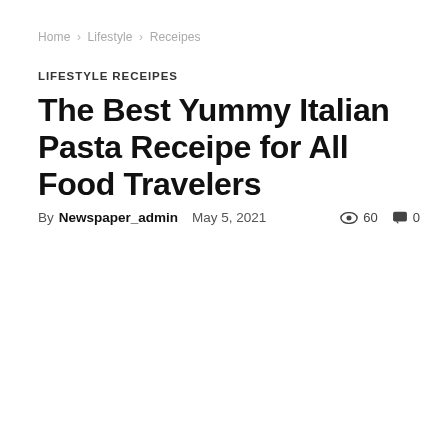Home › Lifestyle › Receipes
LIFESTYLE RECEIPES
The Best Yummy Italian Pasta Receipe for All Food Travelers
By Newspaper_admin  May 5, 2021   60   0